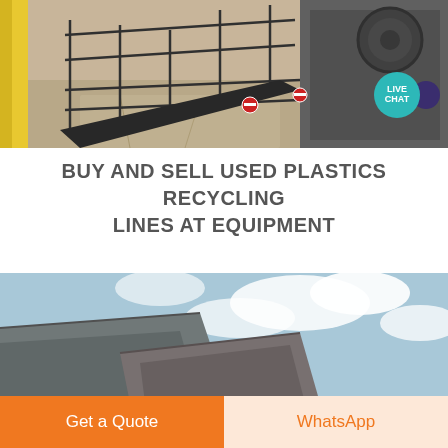[Figure (photo): Outdoor industrial machinery scene with metal stairs/railings and heavy equipment on a construction/industrial site. Yellow structural beam visible on left.]
BUY AND SELL USED PLASTICS RECYCLING LINES AT EQUIPMENT
[Figure (photo): Industrial equipment photographed from below against a partly cloudy sky. Shows large metal sheets or panels of machinery.]
Get a Quote
WhatsApp